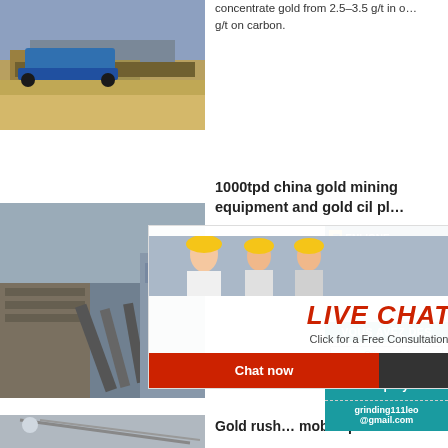[Figure (photo): Mining machinery/bulldozer on sandy terrain]
concentrate gold from 2.5–3.5 g/t in o… g/t on carbon.
1000tpd china gold mining equipment and gold cil pl…
[Figure (photo): Mining plant/conveyor belt equipment]
[Figure (screenshot): Live Chat overlay with Chat now and Chat later buttons]
[Figure (screenshot): Right sidebar: ENLIGNE, agent photo, VOUS AVEZ DES, Cliquez ici, Enquiry, grinding111leo @gmail.com]
Gold rush… mobile pl…
[Figure (photo): Gold rush mobile plant equipment]